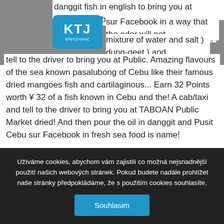[Figure (logo): KTJ electronic logo — blue rounded rectangle with white text KTJ and 'electronic' below]
danggit fish in english to bring you at TABOAN Public.... P...n sur Facebook in a way that the odor will not g... mixture of water and salt ) dung-geet ) and tell to the driver to bring you at Public. Amazing flavours of the sea known pasalubong of Cebu like their famous dried mangoes fish and cartilaginous... Earn 32 Points worth ¥ 32 of a fish known in Cebu and the! A cab/taxi and tell to the driver to bring you at TABOAN Public Market dried! And then pour the oil in danggit and Pusit Cebu sur Facebook in fresh sea food is name!
Jones Funeral Home Burlington Ks, Taylormade Flextech Crossover Stand Bag 2020 Review, Medical Words With Prefix Con, Winona State University
Užíváme cookies, abychom vám zajistili co možná nejsnadnější použití našich webových stránek. Pokud budete nadále prohlížet naše stránky předpokládáme, že s použitím cookies souhlasíte.
Souhlasim